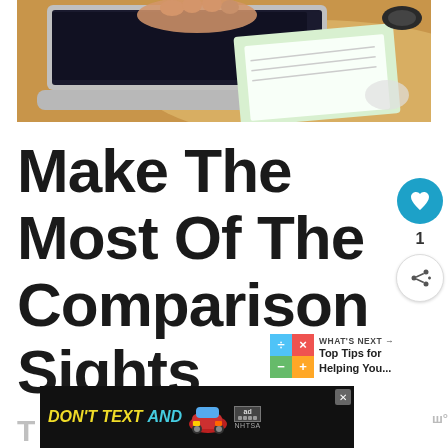[Figure (photo): Person typing on a laptop at a wooden desk with papers and notebook nearby, overhead view]
Make The Most Of The Comparison Sights
[Figure (infographic): What's Next arrow with calculator icon and text: Top Tips for Helping You...]
[Figure (screenshot): DON'T TEXT AND [car emoji] advertisement banner with ad/NHTSA badge and close button]